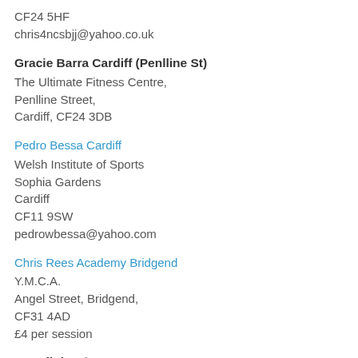CF24 5HF
chris4ncsbjj@yahoo.co.uk
Gracie Barra Cardiff (Penlline St)
The Ultimate Fitness Centre,
Penlline Street,
Cardiff, CF24 3DB
Pedro Bessa Cardiff
Welsh Institute of Sports
Sophia Gardens
Cardiff
CF11 9SW
pedrowbessa@yahoo.com
Chris Rees Academy Bridgend
Y.M.C.A.
Angel Street, Bridgend,
CF31 4AD
£4 per session
Ceredigion ^